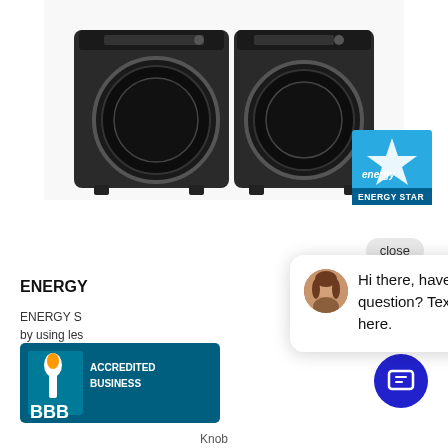[Figure (photo): Two Samsung front-load washer and dryer units in dark graphite color, side by side, with Energy Star certification badge in bottom right corner of image]
close
Hi there, have a question? Text us here.
ENERGY
ENERGY S... by using les... or functiona...
[Figure (logo): BBB Accredited Business badge with teal/dark blue background and white text reading ACCREDITED BUSINESS and BBB in large letters with the BBB torch logo]
Knob